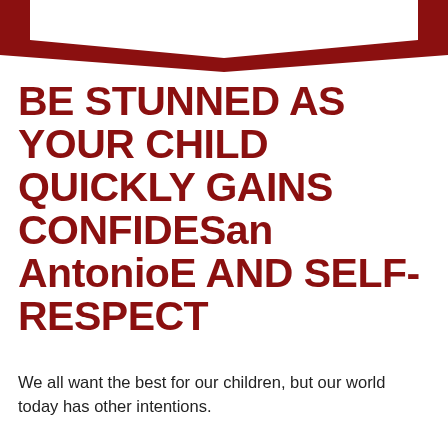[Figure (illustration): Dark red downward-pointing chevron/arrow shape at top of page]
BE STUNNED AS YOUR CHILD QUICKLY GAINS CONFIDESan AntonioE AND SELF-RESPECT
We all want the best for our children, but our world today has other intentions.
With all the violence on TV, “short attention span” programming, the challenges in our education system, and how busy our families are, where is your child going to be surrounded by POSITIVE, enthusiastic peers and towering